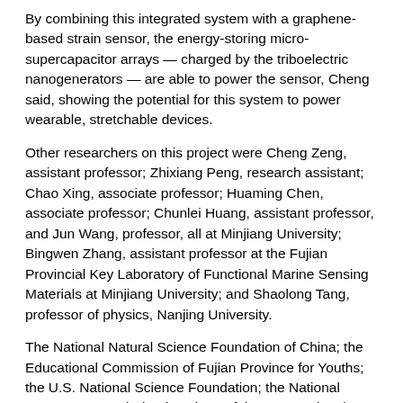By combining this integrated system with a graphene-based strain sensor, the energy-storing micro-supercapacitor arrays — charged by the triboelectric nanogenerators — are able to power the sensor, Cheng said, showing the potential for this system to power wearable, stretchable devices.
Other researchers on this project were Cheng Zeng, assistant professor; Zhixiang Peng, research assistant; Chao Xing, associate professor; Huaming Chen, associate professor; Chunlei Huang, assistant professor, and Jun Wang, professor, all at Minjiang University; Bingwen Zhang, assistant professor at the Fujian Provincial Key Laboratory of Functional Marine Sensing Materials at Minjiang University; and Shaolong Tang, professor of physics, Nanjing University.
The National Natural Science Foundation of China; the Educational Commission of Fujian Province for Youths; the U.S. National Science Foundation; the National Heart, Lung, and Blood Institute of the U.S. National Institutes of Health supported this work.
Read the full news story here: https://news.psu.edu/story/641096/2020/12/08/research/stretch-micro-super...